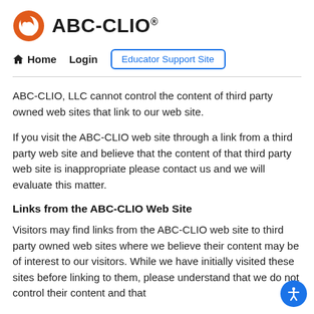ABC-CLIO®
Home  Login  Educator Support Site
ABC-CLIO, LLC cannot control the content of third party owned web sites that link to our web site.
If you visit the ABC-CLIO web site through a link from a third party web site and believe that the content of that third party web site is inappropriate please contact us and we will evaluate this matter.
Links from the ABC-CLIO Web Site
Visitors may find links from the ABC-CLIO web site to third party owned web sites where we believe their content may be of interest to our visitors. While we have initially visited these sites before linking to them, please understand that we do not control their content and that